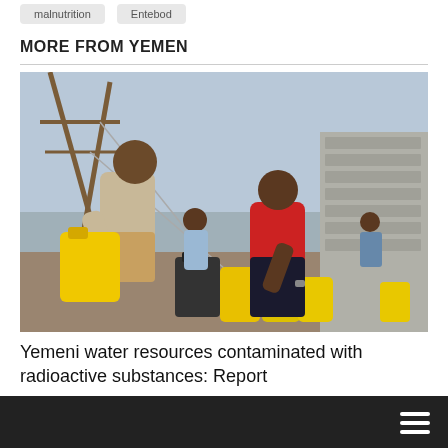malnutrition
Entebod
MORE FROM YEMEN
[Figure (photo): Children filling yellow jerry cans at a water well in Yemen. A boy in a grey top carries a yellow jerry can, while a person in a red shirt bends to pick up another. A concrete block building is visible in the background.]
Yemeni water resources contaminated with radioactive substances: Report
[Figure (photo): Dark bottom strip image with a hamburger menu icon on the right side]